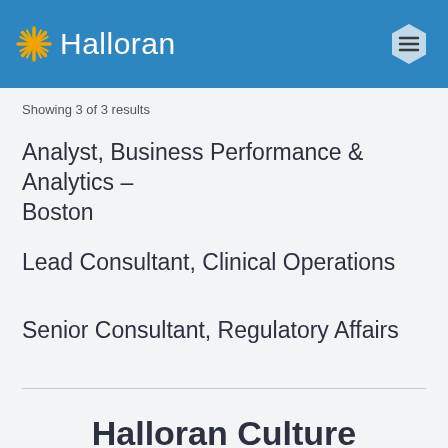Halloran
Showing 3 of 3 results
Analyst, Business Performance & Analytics – Boston
Lead Consultant, Clinical Operations
Senior Consultant, Regulatory Affairs
Halloran Culture